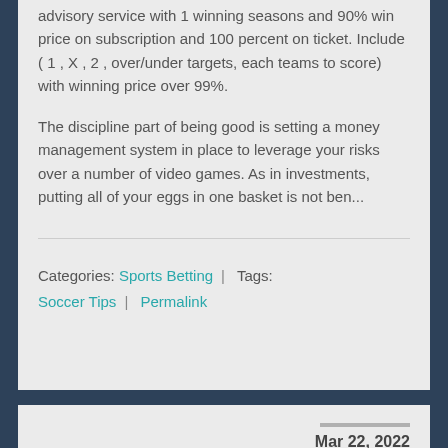advisory service with 1 winning seasons and 90% win price on subscription and 100 percent on ticket. Include ( 1 , X , 2 , over/under targets, each teams to score) with winning price over 99%.
The discipline part of being good is setting a money management system in place to leverage your risks over a number of video games. As in investments, putting all of your eggs in one basket is not ben...
Categories: Sports Betting | Tags: Soccer Tips | Permalink
Mar 22, 2022
SOCCER TIPS AND